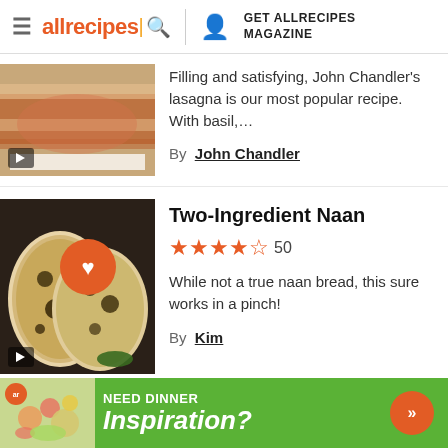allrecipes | GET ALLRECIPES MAGAZINE
Filling and satisfying, John Chandler's lasagna is our most popular recipe. With basil,...
By John Chandler
Two-Ingredient Naan
★★★★½ 50
While not a true naan bread, this sure works in a pinch!
By Kim
[Figure (screenshot): Advertisement banner: NEED DINNER Inspiration? with green background and arrow button]